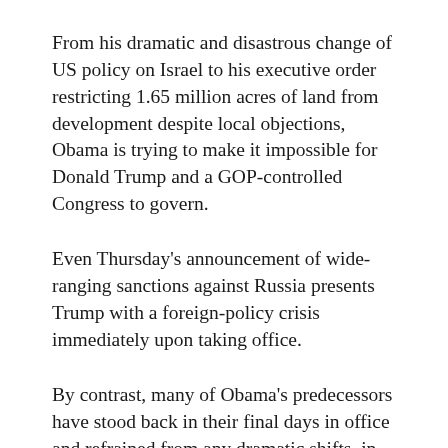his successor — and far more than other presidents have done on their way out.
From his dramatic and disastrous change of US policy on Israel to his executive order restricting 1.65 million acres of land from development despite local objections, Obama is trying to make it impossible for Donald Trump and a GOP-controlled Congress to govern.
Even Thursday's announcement of wide-ranging sanctions against Russia presents Trump with a foreign-policy crisis immediately upon taking office.
By contrast, many of Obama's predecessors have stood back in their final days in office and refrained from any dramatic shifts, in deference to the agenda of the man voters sent to succeed them.
But Obama won't accept the election results. As